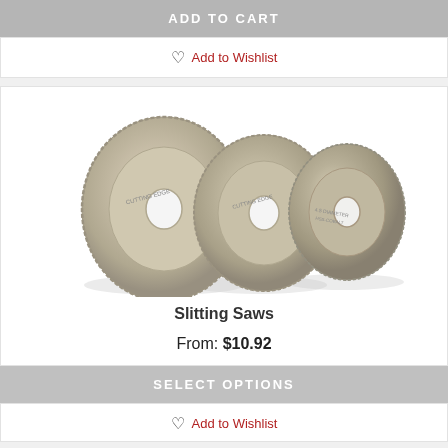ADD TO CART
Add to Wishlist
[Figure (photo): Three circular slitting saw blades of different sizes, metallic silver/gold color, arranged overlapping from left to right on a white background.]
Slitting Saws
From: $10.92
SELECT OPTIONS
Add to Wishlist